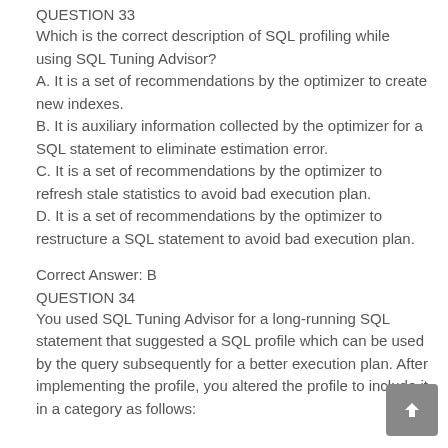QUESTION 33
Which is the correct description of SQL profiling while using SQL Tuning Advisor?
A. It is a set of recommendations by the optimizer to create new indexes.
B. It is auxiliary information collected by the optimizer for a SQL statement to eliminate estimation error.
C. It is a set of recommendations by the optimizer to refresh stale statistics to avoid bad execution plan.
D. It is a set of recommendations by the optimizer to restructure a SQL statement to avoid bad execution plan.
Correct Answer: B
QUESTION 34
You used SQL Tuning Advisor for a long-running SQL statement that suggested a SQL profile which can be used by the query subsequently for a better execution plan. After implementing the profile, you altered the profile to include it in a category as follows: